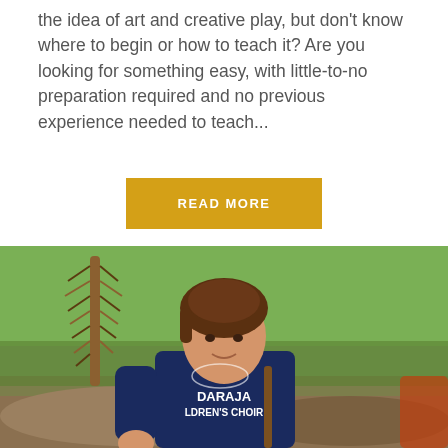the idea of art and creative play, but don't know where to begin or how to teach it?  Are you looking for something easy, with little-to-no preparation required and no previous experience needed to teach...
READ MORE
[Figure (photo): A young boy wearing a navy blue 'Daraja Children's Choir' t-shirt, holding a large feather and a stick, standing outdoors on a patchy grass and dirt field.]